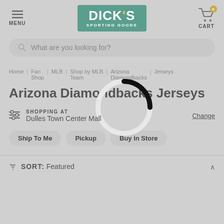[Figure (logo): Dick's Sporting Goods logo - teal/green background with white bold text DICK'S and yellow apostrophe, SPORTING GOODS text below]
MENU
CART 0
What are you looking for?
Home | Fan Shop | MLB | Shop by MLB Team | Arizona Diamondbacks | Jerseys
Arizona Diamondbacks Jerseys
SHOPPING AT Dulles Town Center Mall
Change
Ship To Me
Pickup
Buy in Store
SORT: Featured